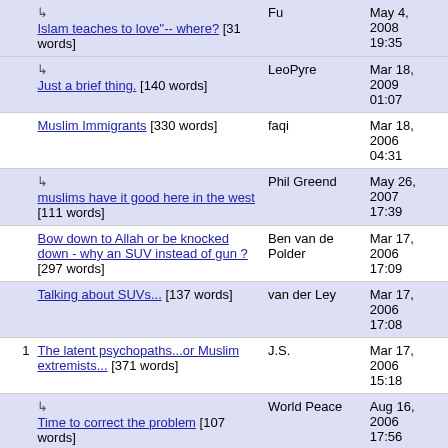|  | Title | Author | Date |
| --- | --- | --- | --- |
|  | ↳ Islam teaches to love"-- where? [31 words] | Fu | May 4, 2008 19:35 |
|  | ↳ Just a brief thing. [140 words] | LeoPyre | Mar 18, 2009 01:07 |
|  | Muslim Immigrants [330 words] | faqi | Mar 18, 2006 04:31 |
|  | ↳ muslims have it good here in the west [111 words] | Phil Greend | May 26, 2007 17:39 |
|  | Bow down to Allah or be knocked down - why an SUV instead of gun ? [297 words] | Ben van de Polder | Mar 17, 2006 17:09 |
|  | Talking about SUVs... [137 words] | van der Ley | Mar 17, 2006 17:08 |
| 1 | The latent psychopaths...or Muslim extremists... [371 words] | J.S. | Mar 17, 2006 15:18 |
|  | ↳ Time to correct the problem [107 words] | World Peace | Aug 16, 2006 17:56 |
| 1 | ↳ | Phil Greend | May 26, |